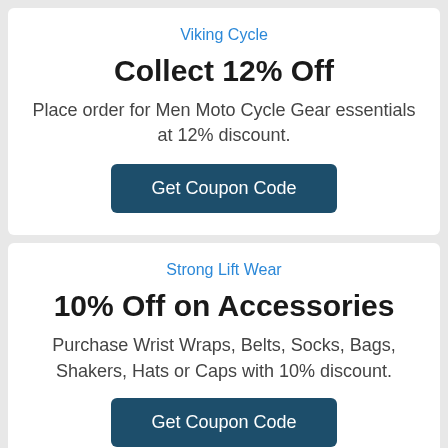Viking Cycle
Collect 12% Off
Place order for Men Moto Cycle Gear essentials at 12% discount.
Get Coupon Code
Strong Lift Wear
10% Off on Accessories
Purchase Wrist Wraps, Belts, Socks, Bags, Shakers, Hats or Caps with 10% discount.
Get Coupon Code